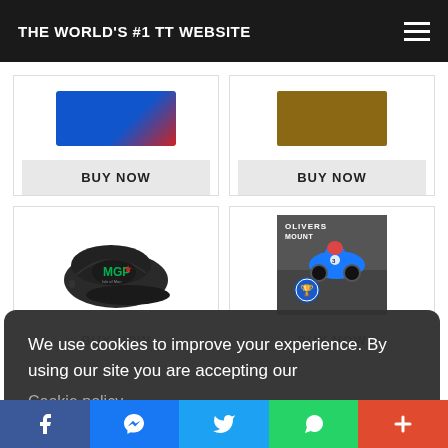THE WORLD'S #1 TT WEBSITE
[Figure (photo): Product card top-left: partially visible product image with BUY NOW button]
[Figure (photo): Product card top-right: partially visible product image with BUY NOW button]
[Figure (photo): Product card bottom-left: MGP branded black baseball cap with BUY NOW button]
[Figure (photo): Product card bottom-right: Olivers Mount motorcycle racing game/DVD cover with trophy badge and BUY NOW button]
We use cookies to improve your experience. By using our site you are accepting our
Cookie policy.
Got it!